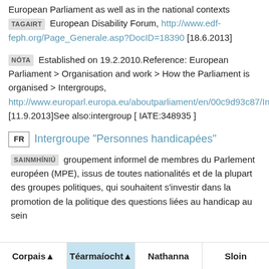European Parliament as well as in the national contexts TAGAIRT European Disability Forum, http://www.edf-feph.org/Page_Generale.asp?DocID=18390 [18.6.2013]
NÓTA Established on 19.2.2010.Reference: European Parliament > Organisation and work > How the Parliament is organised > Intergroups, http://www.europarl.europa.eu/aboutparliament/en/00c9d93c87/Intergroups.html [11.9.2013]See also:intergroup [ IATE:348935 ]
FR Intergroupe "Personnes handicapées"
SAINMHÍNIÚ groupement informel de membres du Parlement européen (MPE), issus de toutes nationalités et de la plupart des groupes politiques, qui souhaitent s'investir dans la promotion de la politique des questions liées au handicap au sein
Corpais ▲   Téarmaíocht ▲   Nathanna   Sloin